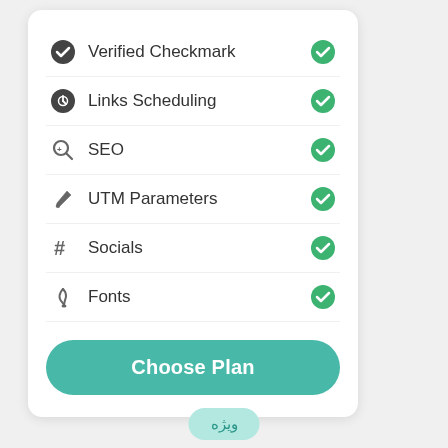Verified Checkmark
Links Scheduling
SEO
UTM Parameters
Socials
Fonts
Choose Plan
ویژه